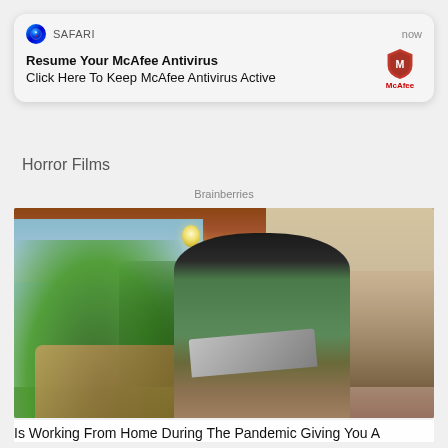[Figure (screenshot): iOS Safari push notification overlay showing 'Resume Your McAfee Antivirus' with McAfee shield logo and text 'Click Here To Keep McAfee Antivirus Active']
Horror Films
Brainberries
[Figure (photo): Woman wearing a face mask and olive dress sitting on a dark couch in a bright modern café/co-working space with plants and pendant lights, working on a laptop]
Is Working From Home During The Pandemic Giving You A